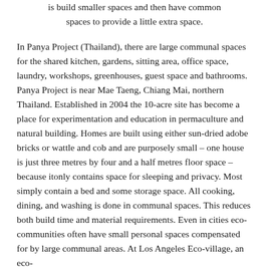is build smaller spaces and then have common spaces to provide a little extra space.
In Panya Project (Thailand), there are large communal spaces for the shared kitchen, gardens, sitting area, office space, laundry, workshops, greenhouses, guest space and bathrooms. Panya Project is near Mae Taeng, Chiang Mai, northern Thailand. Established in 2004 the 10-acre site has become a place for experimentation and education in permaculture and natural building. Homes are built using either sun-dried adobe bricks or wattle and cob and are purposely small – one house is just three metres by four and a half metres floor space – because itonly contains space for sleeping and privacy. Most simply contain a bed and some storage space. All cooking, dining, and washing is done in communal spaces. This reduces both build time and material requirements. Even in cities eco-communities often have small personal spaces compensated for by large communal areas. At Los Angeles Eco-village, an eco-